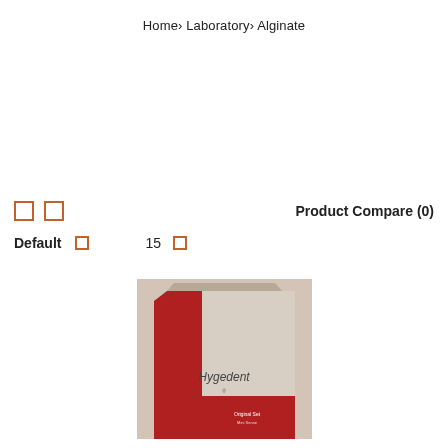Home› Laboratory› Alginate
Product Compare (0)
Default   15
[Figure (photo): A bag of Hygedent alginate dental impression material, silver and red packaging, on a beige background]